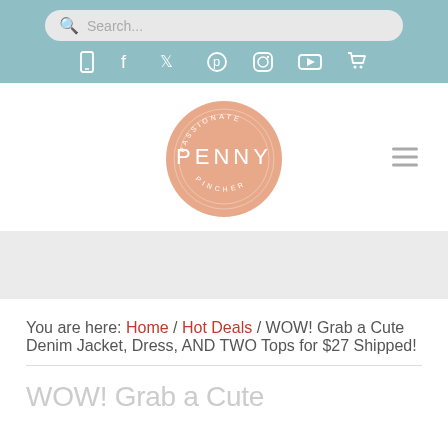Search... (search bar with social icons: mobile, facebook, twitter, pinterest, instagram, youtube, cart)
[Figure (logo): Passionate Penny Pincher circular logo in peach/salmon color with white text reading PENNY in the center and PASSIONATE PENNY PINCHER around the ring]
You are here: Home / Hot Deals / WOW! Grab a Cute Denim Jacket, Dress, AND TWO Tops for $27 Shipped!
WOW! Grab a Cute